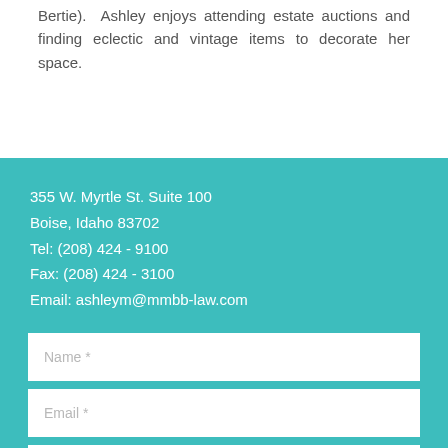Bertie). Ashley enjoys attending estate auctions and finding eclectic and vintage items to decorate her space.
355 W. Myrtle St. Suite 100
Boise, Idaho 83702
Tel: (208) 424 - 9100
Fax: (208) 424 - 3100
Email: ashleym@mmbb-law.com
Name *
Email *
Subject
Message